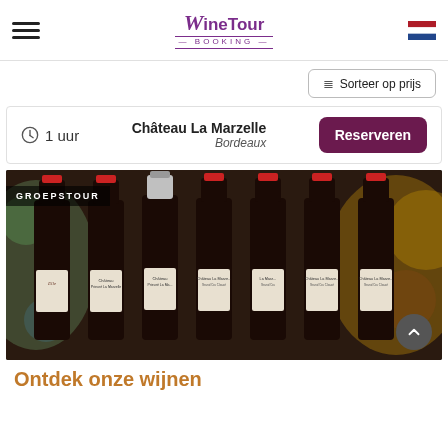WineTour Booking
Sorteer op prijs
1 uur  Château La Marzelle  Bordeaux  Reserveren
[Figure (photo): Multiple bottles of Château La Marzelle wine lined up in front of a stained glass window background, with a GROEPSTOUR label overlay]
Ontdek onze wijnen